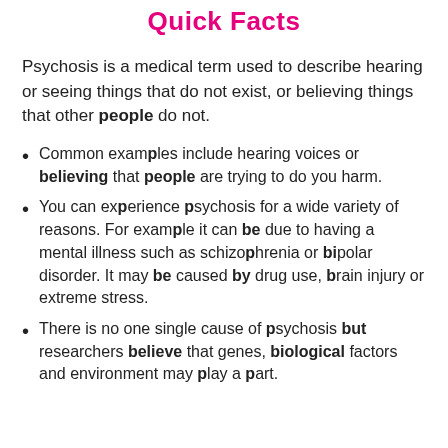Quick Facts
Psychosis is a medical term used to describe hearing or seeing things that do not exist, or believing things that other people do not.
Common examples include hearing voices or believing that people are trying to do you harm.
You can experience psychosis for a wide variety of reasons. For example it can be due to having a mental illness such as schizophrenia or bipolar disorder. It may be caused by drug use, brain injury or extreme stress.
There is no one single cause of psychosis but researchers believe that genes, biological factors and environment may play a part.